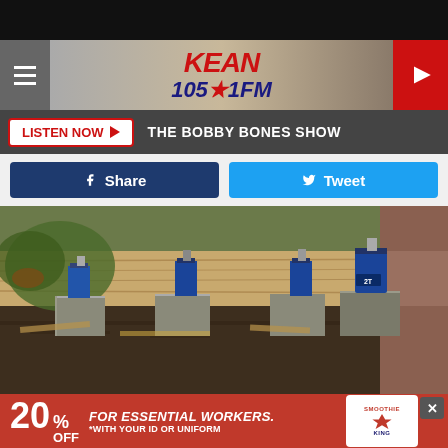[Figure (screenshot): KEAN 105.1 FM radio station website header with hamburger menu, logo, and play button]
LISTEN NOW  THE BOBBY BONES SHOW
Share   Tweet
[Figure (photo): House being lifted with multiple blue hydraulic bottle jacks on concrete blocks under wooden sill plates]
20% OFF  FOR ESSENTIAL WORKERS.  *WITH YOUR ID OR UNIFORM  Smoothie King